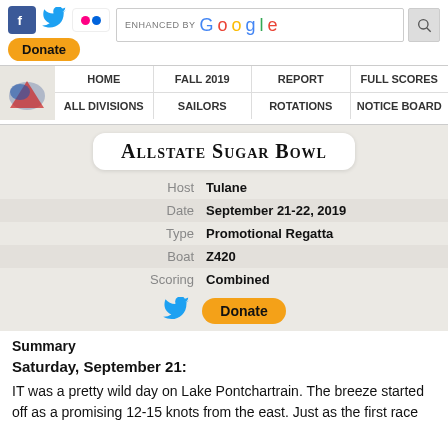[Figure (screenshot): Social media icons (Facebook, Twitter, Flickr), Donate button, Google search bar with search icon]
[Figure (screenshot): Navigation menu with logo and links: HOME, FALL 2019, REPORT, FULL SCORES, ALL DIVISIONS, SAILORS, ROTATIONS, NOTICE BOARD]
Allstate Sugar Bowl
| Host | Tulane |
| Date | September 21-22, 2019 |
| Type | Promotional Regatta |
| Boat | Z420 |
| Scoring | Combined |
[Figure (other): Twitter icon and Donate button in card]
Summary
Saturday, September 21:
IT was a pretty wild day on Lake Pontchartrain. The breeze started off as a promising 12-15 knots from the east. Just as the first race starting sequence rolled around though, with the breeze reaching...